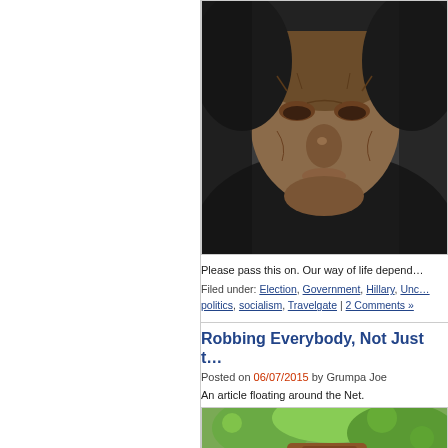[Figure (photo): Close-up photo of an elderly person wearing a dark hood, with deeply wrinkled skin, looking grumpy or stern.]
Please pass this on. Our way of life depend…
Filed under: Election, Government, Hillary, Unc… politics, socialism, Travelgate | 2 Comments »
Robbing Everybody, Not Just t…
Posted on 06/07/2015 by Grumpa Joe
An article floating around the Net.
[Figure (photo): Partial photo showing green foliage and a brown object at the bottom, cropped.]